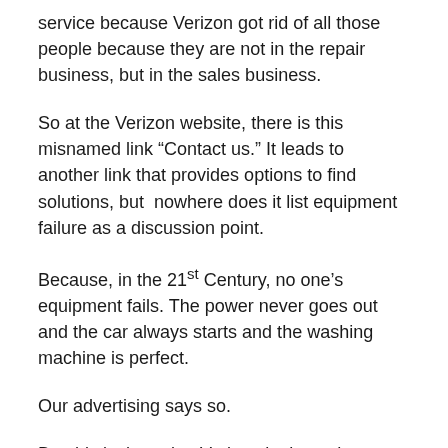service because Verizon got rid of all those people because they are not in the repair business, but in the sales business.
So at the Verizon website, there is this misnamed link “Contact us.” It leads to another link that provides options to find solutions, but  nowhere does it list equipment failure as a discussion point.
Because, in the 21st Century, no one’s equipment fails. The power never goes out and the car always starts and the washing machine is perfect.
Our advertising says so.
But this is the point: Verizon looks at the demographics of who uses landlines or has a separate Internet connection and, first sees them as potential customers for their